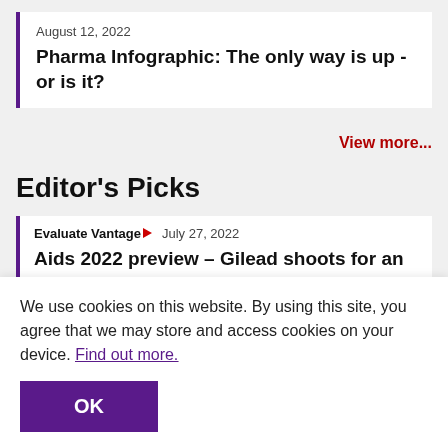August 12, 2022
Pharma Infographic: The only way is up - or is it?
View more...
Editor's Picks
Evaluate Vantage  July 27, 2022
Aids 2022 preview – Gilead shoots for an HIV
We use cookies on this website. By using this site, you agree that we may store and access cookies on your device. Find out more.
OK